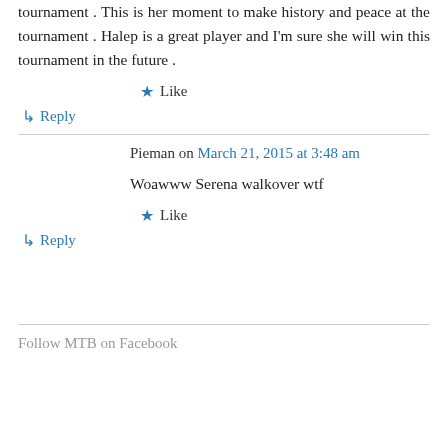tournament . This is her moment to make history and peace at the tournament . Halep is a great player and I'm sure she will win this tournament in the future .
★ Like
↳ Reply
Pieman on March 21, 2015 at 3:48 am
Woawww Serena walkover wtf
★ Like
↳ Reply
Follow MTB on Facebook